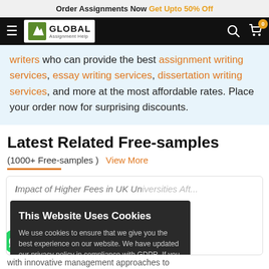Order Assignments Now Get Upto 50% Off
[Figure (logo): Global Assignment Help logo with hamburger menu, search icon, and cart with 0 badge]
writers who can provide the best assignment writing services, essay writing services, dissertation writing services, and more at the most affordable rates. Place your order now for surprising discounts.
Latest Related Free-samples
(1000+ Free-samples )  View More
Impact of Higher Fees in UK Universities Aft...
s considered education in es an to beat. UK recognized universities with innovative management approaches to
This Website Uses Cookies
We use cookies to ensure that we give you the best experience on our website. We have updated our privacy policy in compliance with GDPR. If you continue to use this site we will assume that you are happy with it
Yes, I accept Cookies   View Detail